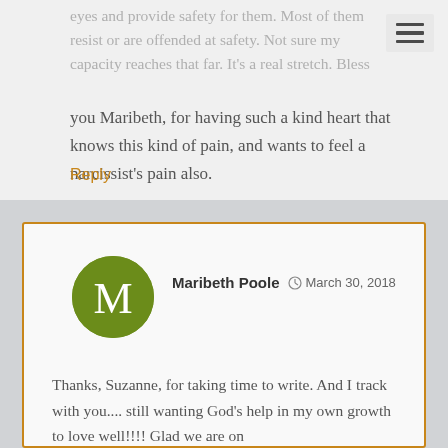eyes and provide safety for them. Most of them resist or are offended at safety. Not sure my capacity reaches that far. It’s a real stretch. Bless you Maribeth, for having such a kind heart that knows this kind of pain, and wants to feel a narcissist’s pain also.
Reply
[Figure (illustration): Green circular avatar with white letter M]
Maribeth Poole  March 30, 2018
Thanks, Suzanne, for taking time to write. And I track with you.... still wanting God’s help in my own growth to love well!!!! Glad we are on